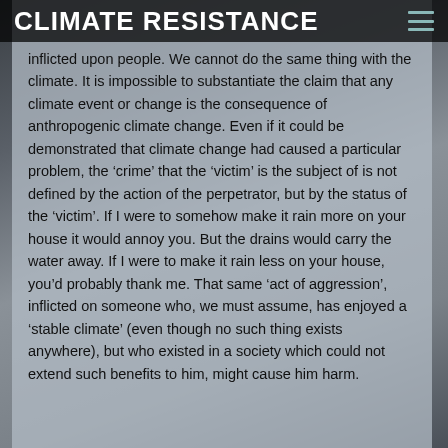CLIMATE RESISTANCE
inflicted upon people. We cannot do the same thing with the climate. It is impossible to substantiate the claim that any climate event or change is the consequence of anthropogenic climate change. Even if it could be demonstrated that climate change had caused a particular problem, the 'crime' that the 'victim' is the subject of is not defined by the action of the perpetrator, but by the status of the 'victim'. If I were to somehow make it rain more on your house it would annoy you. But the drains would carry the water away. If I were to make it rain less on your house, you'd probably thank me. That same ‘act of aggression’, inflicted on someone who, we must assume, has enjoyed a ‘stable climate’ (even though no such thing exists anywhere), but who existed in a society which could not extend such benefits to him, might cause him harm.